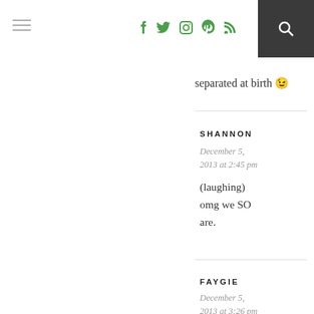social navigation icons and search
separated at birth 😉
SHANNON
December 5, 2013 at 2:45 pm
(laughing) omg we SO are.
FAYGIE
December 5, 2013 at 3:26 pm
I PREFER